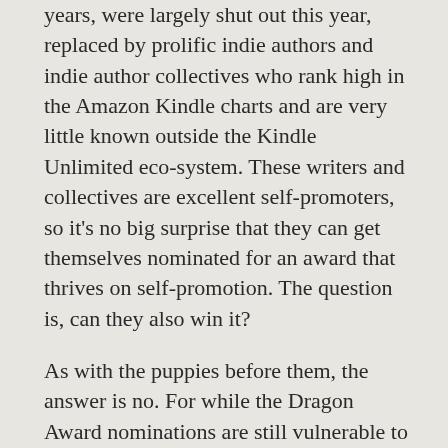years, were largely shut out this year, replaced by prolific indie authors and indie author collectives who rank high in the Amazon Kindle charts and are very little known outside the Kindle Unlimited eco-system. These writers and collectives are excellent self-promoters, so it's no big surprise that they can get themselves nominated for an award that thrives on self-promotion. The question is, can they also win it?
As with the puppies before them, the answer is no. For while the Dragon Award nominations are still vulnerable to campaigning by him or her who can mobilise the most nominations, the winners usually are the sort of broadly popular works that the award was designed to honour.
So let's take a look at the individual categories:
The 2018 Dragon Award for best science fiction novel